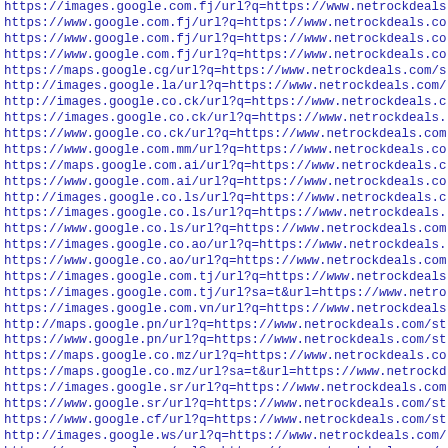https://images.google.com.fj/url?q=https://www.netrockdeals
https://www.google.com.fj/url?q=https://www.netrockdeals.co
https://www.google.com.fj/url?q=https://www.netrockdeals.co
https://www.google.com.fj/url?q=https://www.netrockdeals.co
https://maps.google.cg/url?q=https://www.netrockdeals.com/s
http://images.google.la/url?q=https://www.netrockdeals.com/
http://images.google.co.ck/url?q=https://www.netrockdeals.c
https://images.google.co.ck/url?q=https://www.netrockdeals.
https://www.google.co.ck/url?q=https://www.netrockdeals.com
https://www.google.com.mm/url?q=https://www.netrockdeals.co
https://maps.google.com.ai/url?q=https://www.netrockdeals.c
https://www.google.com.ai/url?q=https://www.netrockdeals.co
http://images.google.co.ls/url?q=https://www.netrockdeals.c
https://images.google.co.ls/url?q=https://www.netrockdeals.
https://www.google.co.ls/url?q=https://www.netrockdeals.com
https://images.google.co.ao/url?q=https://www.netrockdeals.
https://www.google.co.ao/url?q=https://www.netrockdeals.com
https://images.google.com.tj/url?q=https://www.netrockdeals
https://images.google.com.tj/url?sa=t&url=https://www.netro
https://images.google.com.vn/url?q=https://www.netrockdeals
http://maps.google.pn/url?q=https://www.netrockdeals.com/st
https://www.google.pn/url?q=https://www.netrockdeals.com/st
https://maps.google.co.mz/url?q=https://www.netrockdeals.co
https://maps.google.co.mz/url?sa=t&url=https://www.netrockd
https://images.google.sr/url?q=https://www.netrockdeals.com
https://www.google.sr/url?q=https://www.netrockdeals.com/st
https://www.google.cf/url?q=https://www.netrockdeals.com/st
http://images.google.ws/url?q=https://www.netrockdeals.com/
https://maps.google.ws/url?q=https://www.netrockdeals.com/s